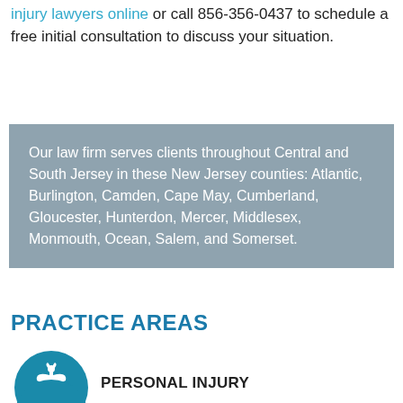injury lawyers online or call 856-356-0437 to schedule a free initial consultation to discuss your situation.
Our law firm serves clients throughout Central and South Jersey in these New Jersey counties: Atlantic, Burlington, Camden, Cape May, Cumberland, Gloucester, Hunterdon, Mercer, Middlesex, Monmouth, Ocean, Salem, and Somerset.
PRACTICE AREAS
[Figure (illustration): Teal circle icon with white caduceus medical symbol]
PERSONAL INJURY
[Figure (illustration): Teal circle icon with white dollar sign symbol (partially visible at bottom)]